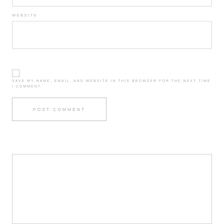WEBSITE
SAVE MY NAME, EMAIL, AND WEBSITE IN THIS BROWSER FOR THE NEXT TIME I COMMENT.
POST COMMENT
INSTAGRAM: @ARTISTRHI